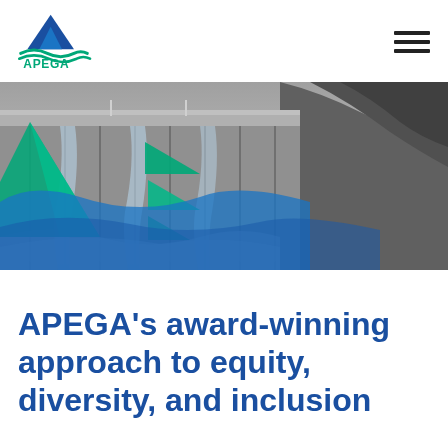[Figure (logo): APEGA logo — blue triangle mountain peak with teal wave lines, text APEGA below in teal]
[Figure (photo): Black and white photo of a large dam with water spraying, overlaid with teal and blue geometric APEGA branding shapes (triangles and wave)]
APEGA's award-winning approach to equity, diversity, and inclusion